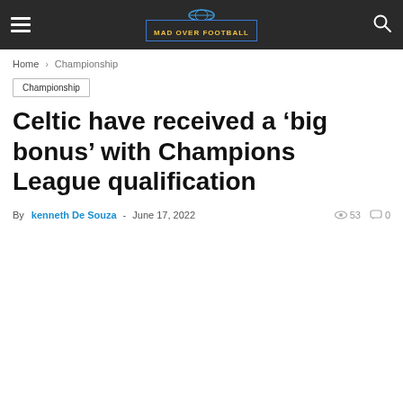Mad Over Football
Home › Championship
Championship
Celtic have received a 'big bonus' with Champions League qualification
By kenneth De Souza - June 17, 2022  53  0